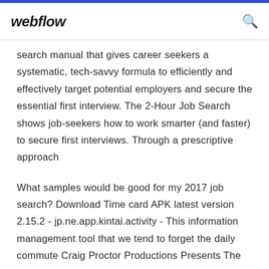webflow
search manual that gives career seekers a systematic, tech-savvy formula to efficiently and effectively target potential employers and secure the essential first interview. The 2-Hour Job Search shows job-seekers how to work smarter (and faster) to secure first interviews. Through a prescriptive approach
What samples would be good for my 2017 job search? Download Time card APK latest version 2.15.2 - jp.ne.app.kintai.activity - This information management tool that we tend to forget the daily commute Craig Proctor Productions Presents The 1-Hour Business Plan This Completely Customized Funnels U...